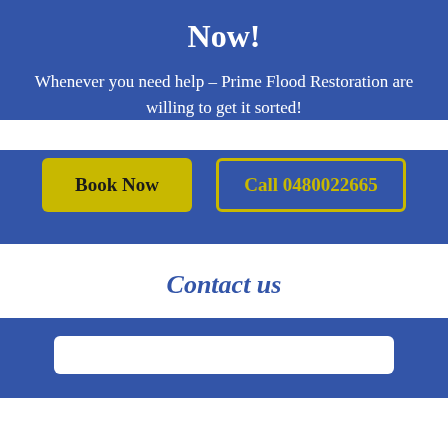Now!
Whenever you need help – Prime Flood Restoration are willing to get it sorted!
Book Now
Call 0480022665
Contact us